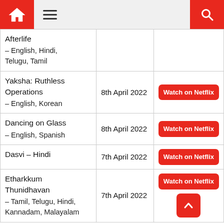Home | Menu | Search
| Title / Language | Date | Link |
| --- | --- | --- |
| Afterlife – English, Hindi, Telugu, Tamil |  |  |
| Yaksha: Ruthless Operations – English, Korean | 8th April 2022 | Watch on Netflix |
| Dancing on Glass – English, Spanish | 8th April 2022 | Watch on Netflix |
| Dasvi – Hindi | 7th April 2022 | Watch on Netflix |
| Etharkkum Thunidhavan – Tamil, Telugu, Hindi, Kannadam, Malayalam | 7th April 2022 | Watch on Netflix |